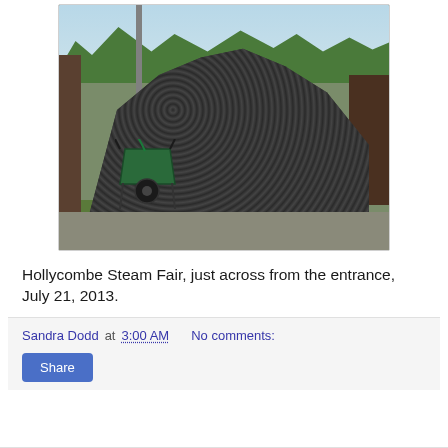[Figure (photo): Large pile of coal briquettes/nuggets behind wooden fencing with a green wheelbarrow leaning against it, trees visible in background, outdoor scene at Hollycombe Steam Fair]
Hollycombe Steam Fair, just across from the entrance, July 21, 2013.
Sandra Dodd at 3:00 AM   No comments:
Share